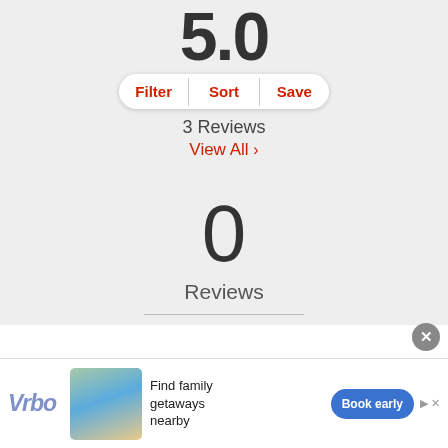5.0
Filter  Sort  Save
3 Reviews
View All >
0
Reviews
[Figure (screenshot): Vrbo advertisement banner with beach house image, text 'Find family getaways nearby' and 'Book early' button]